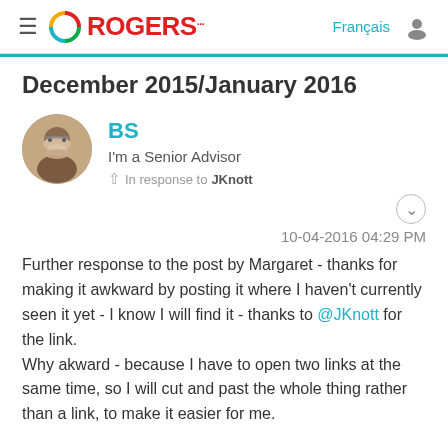ROGERS | Français
December 2015/January 2016
[Figure (photo): User avatar photo showing an older man with glasses and a beard]
BS
I'm a Senior Advisor
In response to JKnott
10-04-2016 04:29 PM
Further response to the post by Margaret - thanks for making it awkward by posting it where I haven't currently seen it yet - I know I will find it - thanks to @JKnott for the link.
Why akward - because I have to open two links at the same time, so I will cut and past the whole thing rather than a link, to make it easier for me.